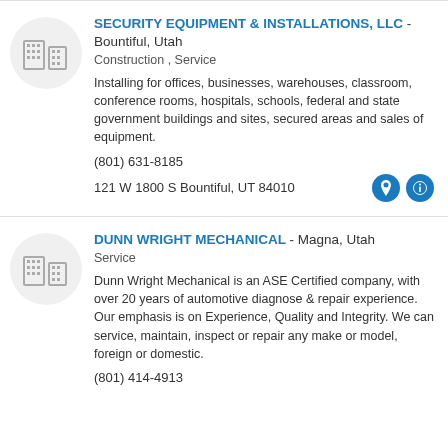[Figure (logo): Building/company icon in grey circle for Security Equipment & Installations]
SECURITY EQUIPMENT & INSTALLATIONS, LLC - Bountiful, Utah
Construction , Service
Installing for offices, businesses, warehouses, classroom, conference rooms, hospitals, schools, federal and state government buildings and sites, secured areas and sales of equipment.
(801) 631-8185
121 W 1800 S Bountiful, UT 84010
[Figure (logo): Building/company icon in grey circle for Dunn Wright Mechanical]
DUNN WRIGHT MECHANICAL - Magna, Utah
Service
Dunn Wright Mechanical is an ASE Certified company, with over 20 years of automotive diagnose & repair experience. Our emphasis is on Experience, Quality and Integrity. We can service, maintain, inspect or repair any make or model, foreign or domestic.
(801) 414-4913